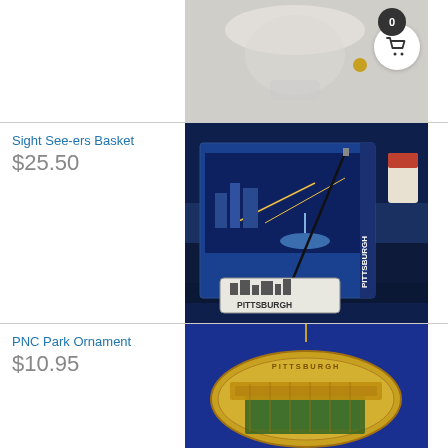[Figure (photo): Partial view of a glass item with decorative elements, top portion cropped]
Sight See-ers Basket
$25.50
[Figure (photo): Pittsburgh souvenir basket with Pittsburgh book, pen, and Pittsburgh skyline magnet/ornament]
PNC Park Ornament
$10.95
[Figure (photo): Gold oval ornament depicting PNC Park baseball stadium on blue background]